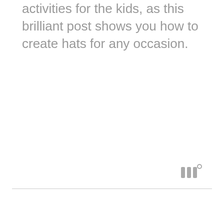activities for the kids, as this brilliant post shows you how to create hats for any occasion.
[Figure (logo): Small logo mark consisting of three vertical bar-like shapes with a small superscript circle, in gray]